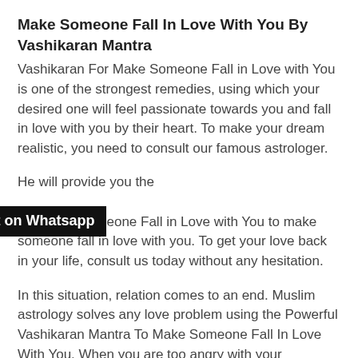Make Someone Fall In Love With You By Vashikaran Mantra
Vashikaran For Make Someone Fall in Love with You is one of the strongest remedies, using which your desired one will feel passionate towards you and fall in love with you by their heart. To make your dream realistic, you need to consult our famous astrologer.
He will provide you the [overlay: Click to Consult on Whatsapp] Vashikaran For Make Someone Fall in Love with You to make someone fall in love with you. To get your love back in your life, consult us today without any hesitation.
In this situation, relation comes to an end. Muslim astrology solves any love problem using the Powerful Vashikaran Mantra To Make Someone Fall In Love With You. When you are too angry with your [continues below]